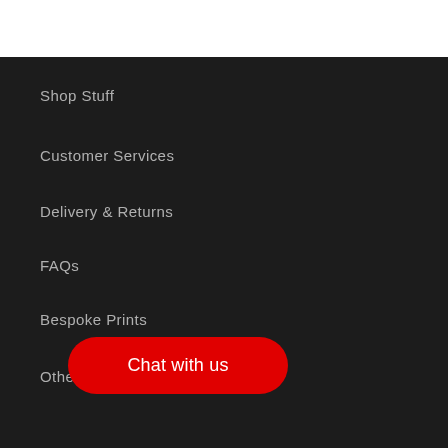Shop Stuff
Customer Services
Delivery & Returns
FAQs
Bespoke Prints
Other Stuff
Chat with us